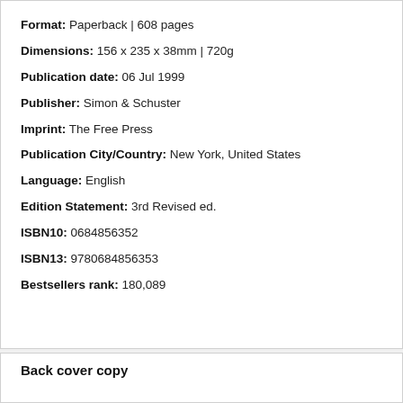Format: Paperback | 608 pages
Dimensions: 156 x 235 x 38mm | 720g
Publication date: 06 Jul 1999
Publisher: Simon & Schuster
Imprint: The Free Press
Publication City/Country: New York, United States
Language: English
Edition Statement: 3rd Revised ed.
ISBN10: 0684856352
ISBN13: 9780684856353
Bestsellers rank: 180,089
Back cover copy